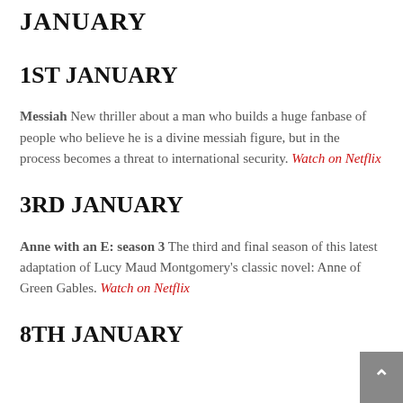JANUARY
1ST JANUARY
Messiah New thriller about a man who builds a huge fanbase of people who believe he is a divine messiah figure, but in the process becomes a threat to international security. Watch on Netflix
3RD JANUARY
Anne with an E: season 3 The third and final season of this latest adaptation of Lucy Maud Montgomery's classic novel: Anne of Green Gables. Watch on Netflix
8TH JANUARY